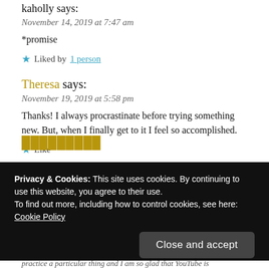kaholly says:
November 14, 2019 at 7:47 am
*promise
★ Liked by 1 person
Theresa says:
November 19, 2019 at 5:58 pm
Thanks! I always procrastinate before trying something new. But, when I finally get to it I feel so accomplished.
★ Like
Privacy & Cookies: This site uses cookies. By continuing to use this website, you agree to their use.
To find out more, including how to control cookies, see here:
Cookie Policy
Close and accept
practice a particular thing and I am so glad that YouTube is